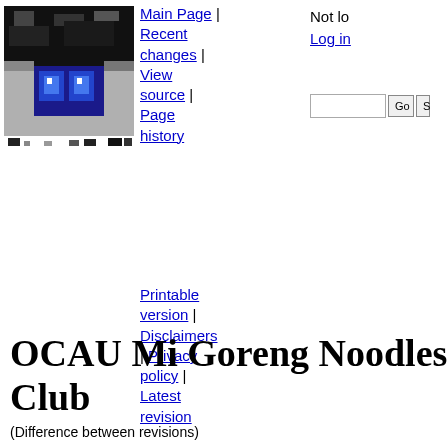[Figure (screenshot): Wiki logo: pixelated image with dark blue and white tones, cat-like eyes, with small pixel icons below]
Main Page | Recent changes | View source | Page history
Not logged — Log in
Printable version | Disclaimers | Privacy policy | Latest revision
OCAU Mi Goreng Noodles Club
(Difference between revisions)